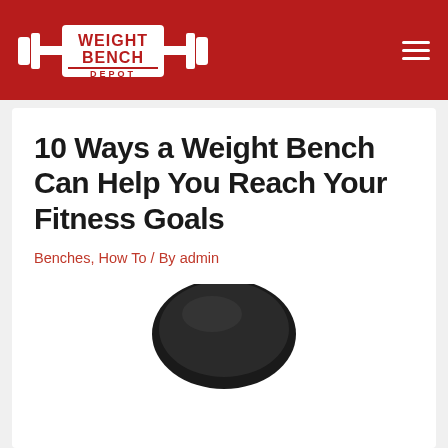Weight Bench Depot
10 Ways a Weight Bench Can Help You Reach Your Fitness Goals
Benches, How To / By admin
[Figure (photo): Top portion of a black padded weight bench, cropped to show the top pad against a white background]